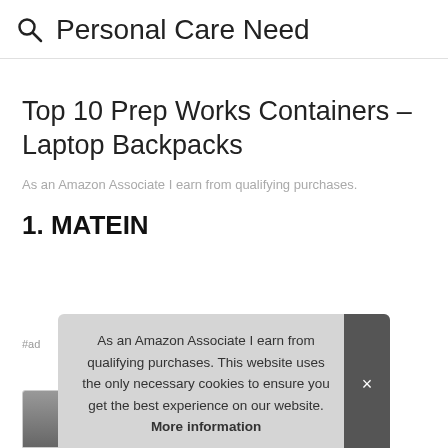Personal Care Need
Top 10 Prep Works Containers – Laptop Backpacks
As an Amazon Associate I earn from qualifying purchases.
1. MATEIN
#ad
As an Amazon Associate I earn from qualifying purchases. This website uses the only necessary cookies to ensure you get the best experience on our website. More information